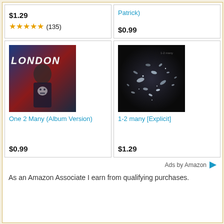$1.29
★★★★★ (135)
Patrick)
$0.99
[Figure (photo): Album cover for 'One 2 Many (Album Version)' - shows a person wearing a skull sweater with LONDON text overlay]
One 2 Many (Album Version)
$0.99
[Figure (photo): Dark album cover showing scattered white/silver fragments on dark background]
1-2 many [Explicit]
$1.29
Ads by Amazon
As an Amazon Associate I earn from qualifying purchases.